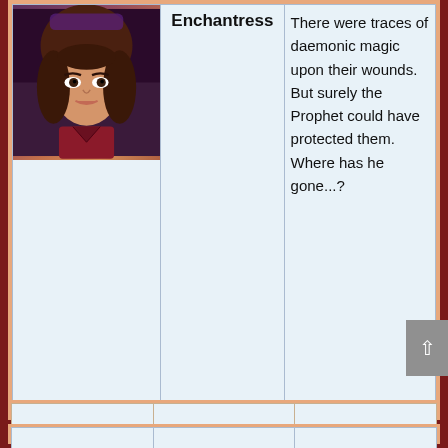| Image | Name | Quote |
| --- | --- | --- |
| [character portrait] | Enchantress | There were traces of daemonic magic upon their wounds. But surely the Prophet could have protected them. Where has he gone...? |